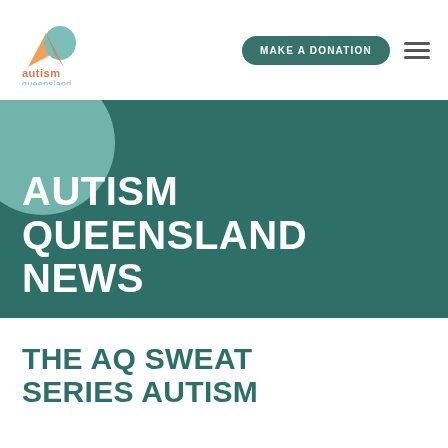[Figure (logo): Autism Queensland logo: colourful 'A' mark above text 'autism queensland' in teal and orange]
MAKE A DONATION
AUTISM QUEENSLAND NEWS
THE AQ SWEAT SERIES AUTISM